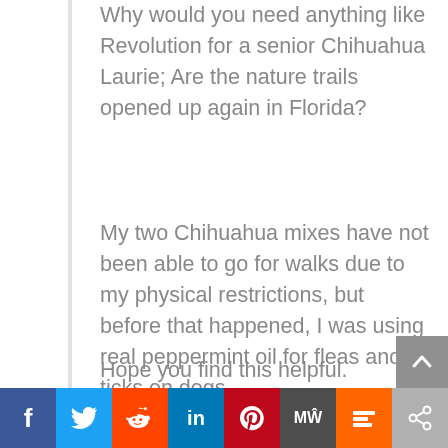Why would you need anything like Revolution for a senior Chihuahua Laurie; Are the nature trails opened up again in Florida?
My two Chihuahua mixes have not been able to go for walks due to my physical restrictions, but before that happened, I was using real peppermint oil for fleas and ticks on dogs.
Hope you find this helpful.
[Figure (other): Social sharing bar with icons for Facebook, Twitter, Reddit, LinkedIn, Pinterest, MeWe, Mix, and share button]